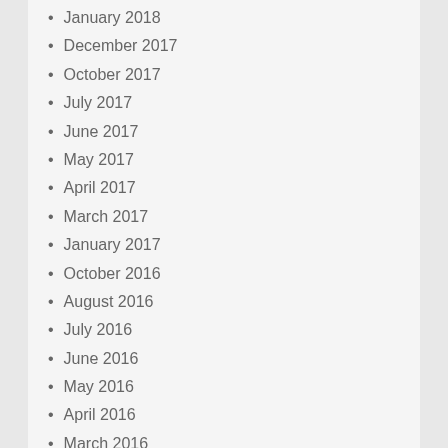January 2018
December 2017
October 2017
July 2017
June 2017
May 2017
April 2017
March 2017
January 2017
October 2016
August 2016
July 2016
June 2016
May 2016
April 2016
March 2016
February 2016
January 2016
December 2015
November 2015
October 2015
September 2015